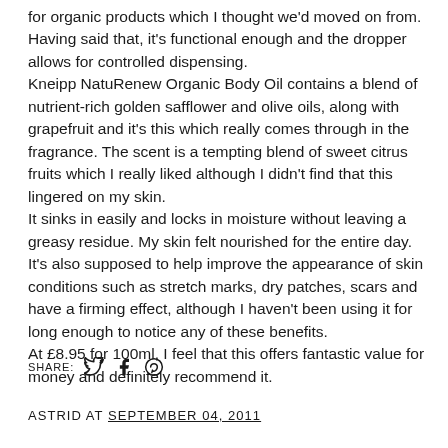for organic products which I thought we'd moved on from. Having said that, it's functional enough and the dropper allows for controlled dispensing.
Kneipp NatuRenew Organic Body Oil contains a blend of nutrient-rich golden safflower and olive oils, along with grapefruit and it's this which really comes through in the fragrance. The scent is a tempting blend of sweet citrus fruits which I really liked although I didn't find that this lingered on my skin.
It sinks in easily and locks in moisture without leaving a greasy residue. My skin felt nourished for the entire day. It's also supposed to help improve the appearance of skin conditions such as stretch marks, dry patches, scars and have a firming effect, although I haven't been using it for long enough to notice any of these benefits.
At £8.95 for 100ml, I feel that this offers fantastic value for money and definitely recommend it.
SHARE:
ASTRID AT SEPTEMBER 04, 2011